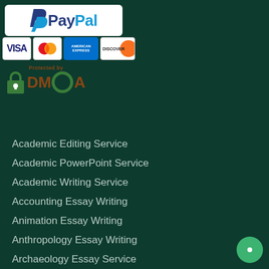[Figure (logo): PayPal logo in white rounded rectangle box]
[Figure (logo): Payment card logos: VISA, Mastercard, American Express, Discover]
[Figure (logo): DMCA Protected badge with lock icon and green ring in DMCA text]
Academic Editing Service
Academic PowerPoint Service
Academic Writing Service
Accounting Essay Writing
Animation Essay Writing
Anthropology Essay Writing
Archaeology Essay Service